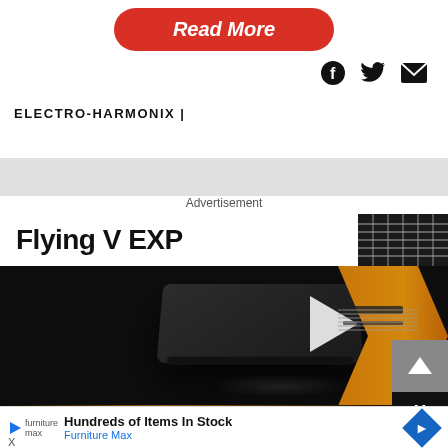[Figure (screenshot): Red 'Read More' button (italic text, rounded rectangle, red background)]
[Figure (screenshot): Social media icons: Facebook, Twitter, Email]
ELECTRO-HARMONIX |
Advertisement
[Figure (screenshot): Flying V EXP advertisement with video player showing dark background and play button, guitar image on right side]
[Figure (screenshot): THE SICK THE DYING sub-advertisement banner]
Hundreds of Items In Stock
Furniture Max